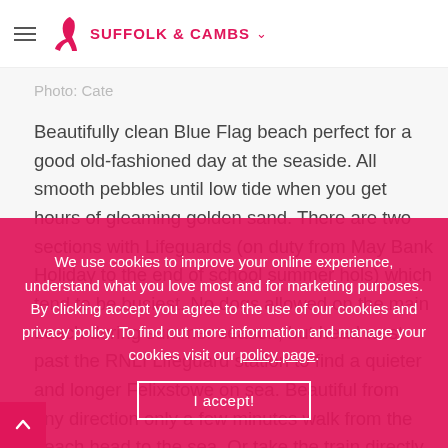SUFFOLK & CAMBS
Photo: Cate
Beautifully clean Blue Flag beach perfect for a good old-fashioned day at the seaside. All smooth pebbles until low tide when you get hours of gleaming golden sand. There are two sections with Lifeguards (on duty from May Bank Holiday to the end of school summer hols) which tend to be busiest. No dogs allowed on the main beach during summer season, but head west past the RNLI Lifeguard station to find a quieter and longer Felixstowe on sea. Beautiful from any direction only a few minutes walk from the beach head to the sea. Or take the train directly from Norwich Being in town you're only a short stroll away from
We use cookies to improve your online experience, understand what you love most and for marketing purposes. By clicking accept you agree to the use of our cookies and privacy policy. To find out more information and manage your cookies visit our policy page.